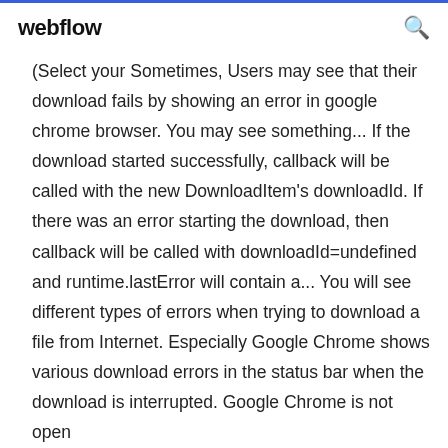webflow
(Select your Sometimes, Users may see that their download fails by showing an error in google chrome browser. You may see something... If the download started successfully, callback will be called with the new DownloadItem's downloadId. If there was an error starting the download, then callback will be called with downloadId=undefined and runtime.lastError will contain a... You will see different types of errors when trying to download a file from Internet. Especially Google Chrome shows various download errors in the status bar when the download is interrupted. Google Chrome is not open